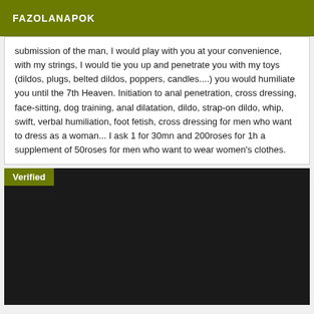FAZOLANAPOK
submission of the man, I would play with you at your convenience, with my strings, I would tie you up and penetrate you with my toys (dildos, plugs, belted dildos, poppers, candles....) you would humiliate you until the 7th Heaven. Initiation to anal penetration, cross dressing, face-sitting, dog training, anal dilatation, dildo, strap-on dildo, whip, swift, verbal humiliation, foot fetish, cross dressing for men who want to dress as a woman... I ask 1 for 30mn and 200roses for 1h a supplement of 50roses for men who want to wear women's clothes.
[Figure (photo): Dark/black image panel with a 'Verified' badge label in olive/yellow-green color at the top left corner]